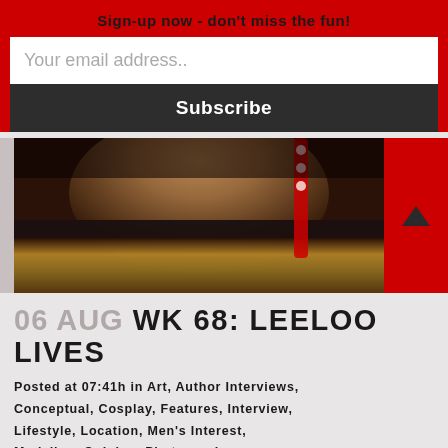Sign-up now - don't miss the fun!
Your email address..
Subscribe
[Figure (photo): Close-up photo showing a person's torso with a red harness/strap, black waistband, and gold/tan fabric below, in dark moody lighting]
06 AUG WK 68: LEELOO LIVES
Posted at 07:41h in Art, Author Interviews, Conceptual, Cosplay, Features, Interview, Lifestyle, Location, Men's Interest, Modeling, Opinion, Photography,